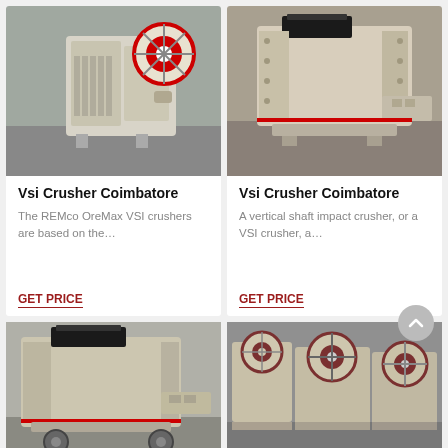[Figure (photo): Industrial jaw crusher machine with red flywheel, white/cream colored, in factory setting]
Vsi Crusher Coimbatore
The REMco OreMax VSI crushers are based on the…
GET PRICE
[Figure (photo): Industrial impact crusher machine, cream/beige colored, in factory setting]
Vsi Crusher Coimbatore
A vertical shaft impact crusher, or a VSI crusher, a…
GET PRICE
[Figure (photo): Industrial impact crusher machine, cream/beige colored outdoors]
[Figure (photo): Multiple jaw crusher machines in factory yard]